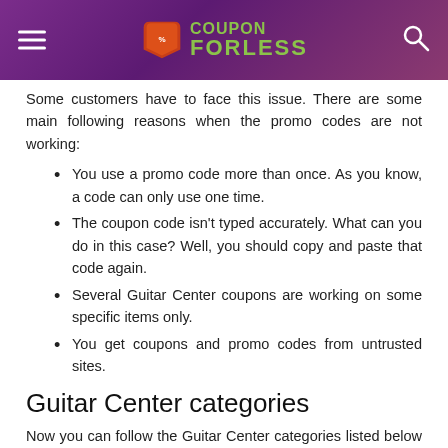COUPON FORLESS
Some customers have to face this issue. There are some main following reasons when the promo codes are not working:
You use a promo code more than once. As you know, a code can only use one time.
The coupon code isn't typed accurately. What can you do in this case? Well, you should copy and paste that code again.
Several Guitar Center coupons are working on some specific items only.
You get coupons and promo codes from untrusted sites.
Guitar Center categories
Now you can follow the Guitar Center categories listed below and choose more favorite musical instruments for yourself. And don't forget to use our Guitar Center coupon deals, voucher codes, and promo codes to save m money.